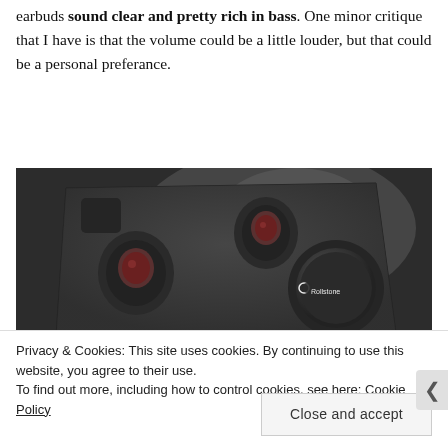headphones is the sound quality. The Rollstone Nova wireless earbuds sound clear and pretty rich in bass. One minor critique that I have is that the volume could be a little louder, but that could be a personal preferance.
[Figure (photo): Photo of Rollstone branded wireless earbuds in a foam-lined carrying case/box, shot from above on a dark surface. The case is black foam with cutouts for the earbuds and a circular charger. The Rollstone logo is visible on the charger.]
Privacy & Cookies: This site uses cookies. By continuing to use this website, you agree to their use.
To find out more, including how to control cookies, see here: Cookie Policy